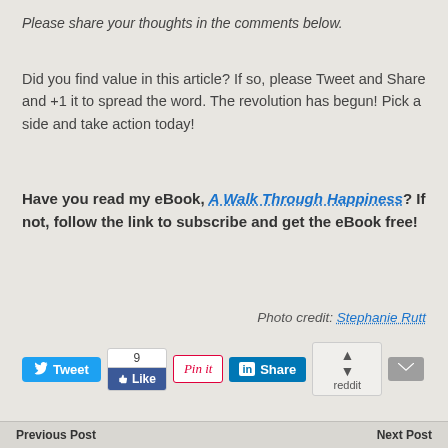Please share your thoughts in the comments below.
Did you find value in this article? If so, please Tweet and Share and +1 it to spread the word. The revolution has begun! Pick a side and take action today!
Have you read my eBook, A Walk Through Happiness? If not, follow the link to subscribe and get the eBook free!
Photo credit: Stephanie Rutt
[Figure (screenshot): Social sharing buttons: Tweet, Like (9), Pin it, Share (LinkedIn), Reddit, Email]
Previous Post    Next Post